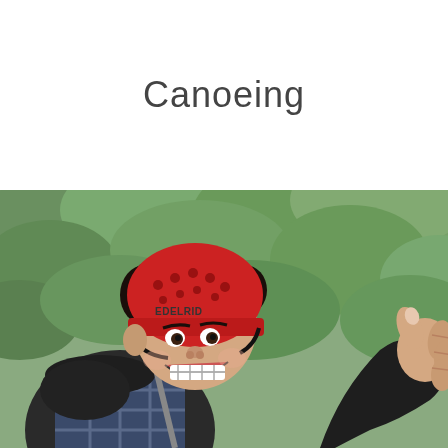Canoeing
[Figure (photo): A smiling young person wearing a red Edelrid climbing helmet and dark fleece jacket, giving a thumbs up gesture. Green foliage visible in the background.]